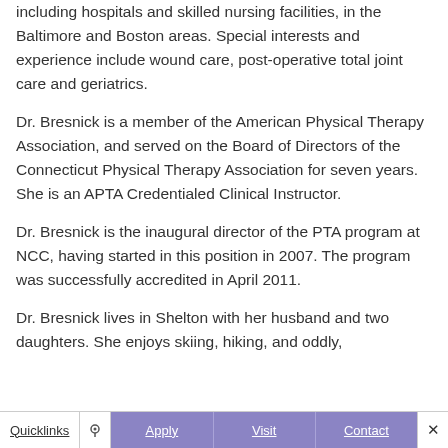including hospitals and skilled nursing facilities, in the Baltimore and Boston areas.  Special interests and experience include wound care, post-operative total joint care and geriatrics.
Dr. Bresnick is a member of the American Physical Therapy Association, and served on the Board of Directors of the Connecticut Physical Therapy Association for seven years.  She is an APTA Credentialed Clinical Instructor.
Dr. Bresnick is the inaugural director of the PTA program at NCC, having started in this position in 2007.  The program was successfully accredited in April 2011.
Dr. Bresnick lives in Shelton with her husband and two daughters.  She enjoys skiing, hiking, and oddly,
Quicklinks  Apply  Visit  Contact